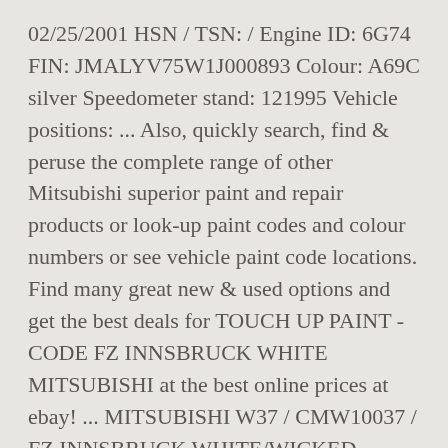02/25/2001 HSN / TSN: / Engine ID: 6G74 FIN: JMALYV75W1J000893 Colour: A69C silver Speedometer stand: 121995 Vehicle positions: ... Also, quickly search, find & peruse the complete range of other Mitsubishi superior paint and repair products or look-up paint codes and colour numbers or see vehicle paint code locations. Find many great new & used options and get the best deals for TOUCH UP PAINT - CODE FZ INNSBRUCK WHITE MITSUBISHI at the best online prices at ebay! ... MITSUBISHI W37 / CMW10037 / FZ INNSBRUCK WHITE/WICKED WHITE MITSUBISHI W12 NORTH STAR WHITE MITSUBISHI W13 / YX / CMW10013 SILKY WHITE/DIAMOND WHITE/AS ART...